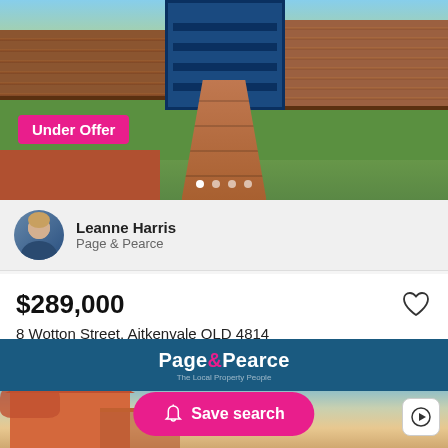[Figure (photo): Exterior photo of a property showing a brick paved pathway leading to a blue gate/garage door, with wooden horizontal fences on both sides and green lawn areas. An 'Under Offer' badge is overlaid on the lower-left of the image.]
Under Offer
[Figure (photo): Circular avatar portrait of agent Leanne Harris]
Leanne Harris
Page & Pearce
$289,000
8 Wotton Street, Aitkenvale QLD 4814
4 bedrooms  1 bathroom  1 garage  607m²
House for Sale • 49 days on Homely
[Figure (logo): Page & Pearce logo in white on dark teal background with tagline 'The Local Property People']
[Figure (photo): Bottom portion showing another house listing photo with blue sky, a house with a carport/verandah]
Save search